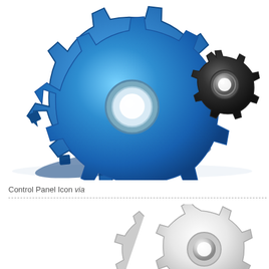[Figure (illustration): 3D illustration of a large blue gear and a smaller black gear meshing together, shown at an angle with metallic hub rings, on a white background.]
Control Panel Icon via
[Figure (illustration): 3D illustration of a white/grey gear partially visible in the lower right of the frame, shown at an angle on a white background.]